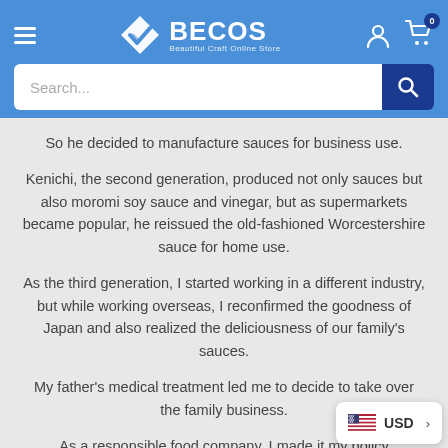[Figure (screenshot): BECOS (Beautiful Craft Online Store) website header with logo, hamburger menu, search bar, user icon, and cart icon with badge showing 0]
So he decided to manufacture sauces for business use.
Kenichi, the second generation, produced not only sauces but also moromi soy sauce and vinegar, but as supermarkets became popular, he reissued the old-fashioned Worcestershire sauce for home use.
As the third generation, I started working in a different industry, but while working overseas, I reconfirmed the goodness of Japan and also realized the deliciousness of our family’s sauces.
My father’s medical treatment led me to decide to take over the family business.
As a responsible food company, I made it my policy to additives as possible in our production pr…